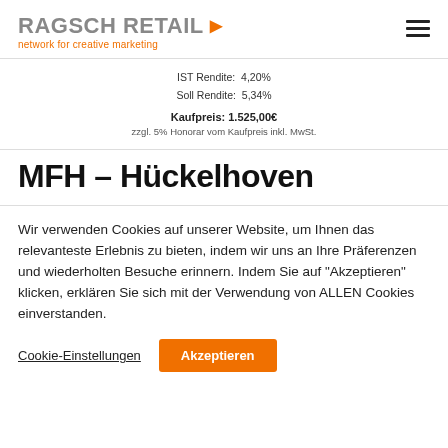Ragsch Retail – network for creative marketing
IST Rendite: 4,20%
Soll Rendite: 5,34%
Kaufpreis: 1.525,00€
zzgl. 5% Honorar vom Kaufpreis inkl. MwSt.
MFH – Hückelhoven
Wir verwenden Cookies auf unserer Website, um Ihnen das relevanteste Erlebnis zu bieten, indem wir uns an Ihre Präferenzen und wiederholten Besuche erinnern. Indem Sie auf "Akzeptieren" klicken, erklären Sie sich mit der Verwendung von ALLEN Cookies einverstanden.
Cookie-Einstellungen | Akzeptieren